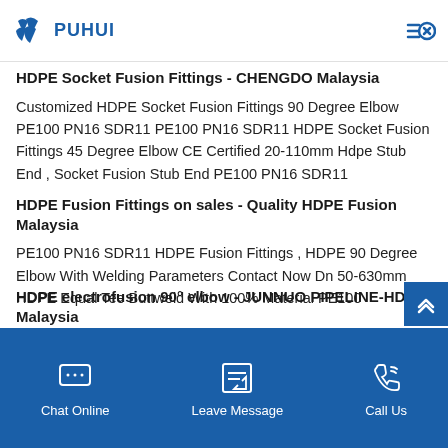PUHUI (logo header with navigation)
HDPE Socket Fusion Fittings - CHENGDO Malaysia
Customized HDPE Socket Fusion Fittings 90 Degree Elbow PE100 PN16 SDR11 PE100 PN16 SDR11 HDPE Socket Fusion Fittings 45 Degree Elbow CE Certified 20-110mm Hdpe Stub End , Socket Fusion Stub End PE100 PN16 SDR11
HDPE Fusion Fittings on sales - Quality HDPE Fusion Malaysia
PE100 PN16 SDR11 HDPE Fusion Fittings , HDPE 90 Degree Elbow With Welding Parameters Contact Now Dn 50-630mm HDPE Equal Tee Buttweld With 100% Material PE100
HDPE electrofusion 90° elbow - JUNNUO PIPELINE-HDPE Malaysia
Chat Online | Leave Message | Call Us